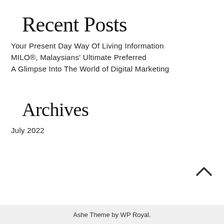Recent Posts
Your Present Day Way Of Living Information
MILO®, Malaysians' Ultimate Preferred
A Glimpse Into The World of Digital Marketing
Archives
July 2022
Ashe Theme by WP Royal.